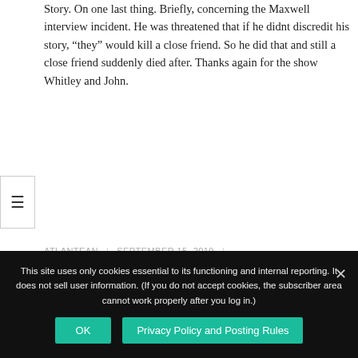Story. On one last thing. Briefly, concerning the Maxwell interview incident. He was threatened that if he didnt discredit his story, “they” would kill a close friend. So he did that and still a close friend suddenly died after. Thanks again for the show Whitley and John.
ATLANTEAN | SEPTEMBER 15, 2019 |
PERMALINK | LOG IN TO REPLY
[Figure (illustration): Gray avatar placeholder icon showing a silhouette of a person]
very interesting interviews – you keep getting better Whitely! Many unanswered questions but the obvious North American archeologist blindness is not at a question. How do they
This site uses only cookies essential to its functioning and internal reporting. It does not sell user information. (If you do not accept cookies, the subscriber area cannot work properly after you log in.)
OK
Privacy Policy and Posting Rules